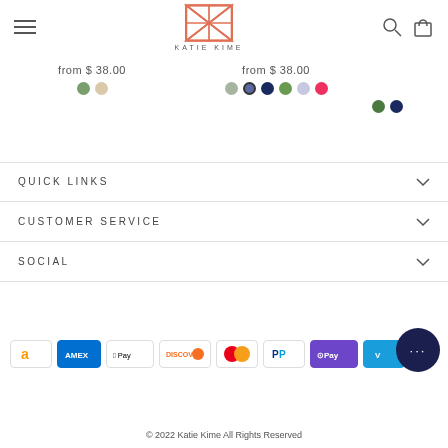Katie Kime – Navigation header with logo, hamburger menu, search and cart icons
from $ 38.00
from $ 38.00
QUICK LINKS
CUSTOMER SERVICE
SOCIAL
[Figure (logo): Payment method icons: Amazon, Amex, Apple Pay, Discover, Mastercard, PayPal, OPay, Venmo]
© 2022 Katie Kime All Rights Reserved